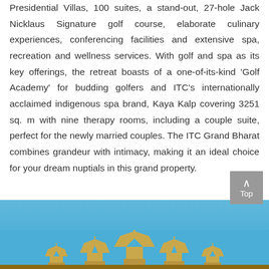Presidential Villas, 100 suites, a stand-out, 27-hole Jack Nicklaus Signature golf course, elaborate culinary experiences, conferencing facilities and extensive spa, recreation and wellness services. With golf and spa as its key offerings, the retreat boasts of a one-of-its-kind 'Golf Academy' for budding golfers and ITC's internationally acclaimed indigenous spa brand, Kaya Kalp covering 3251 sq. m with nine therapy rooms, including a couple suite, perfect for the newly married couples. The ITC Grand Bharat combines grandeur with intimacy, making it an ideal choice for your dream nuptials in this grand property.
[Figure (photo): Photo of ITC Grand Bharat hotel exterior showing ornate golden architecture against a blue sky]